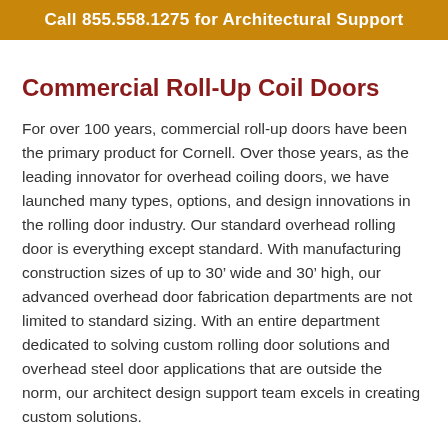Call 855.558.1275 for Architectural Support
Commercial Roll-Up Coil Doors
For over 100 years, commercial roll-up doors have been the primary product for Cornell. Over those years, as the leading innovator for overhead coiling doors, we have launched many types, options, and design innovations in the rolling door industry. Our standard overhead rolling door is everything except standard. With manufacturing construction sizes of up to 30’ wide and 30’ high, our advanced overhead door fabrication departments are not limited to standard sizing. With an entire department dedicated to solving custom rolling door solutions and overhead steel door applications that are outside the norm, our architect design support team excels in creating custom solutions.
What Is a Rolling Steel Door?